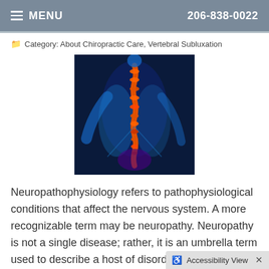MENU   206-838-0022
Category: About Chiropractic Care, Vertebral Subluxation
[Figure (illustration): Blue-toned medical illustration of a human spine/back with red-orange highlighted vertebral column, showing nervous system pathways]
Neuropathophysiology refers to pathophysiological conditions that affect the nervous system. A more recognizable term may be neuropathy. Neuropathy is not a single disease; rather, it is an umbrella term used to describe a host of disorders that affect various nerves in various ways, in various areas
Read more